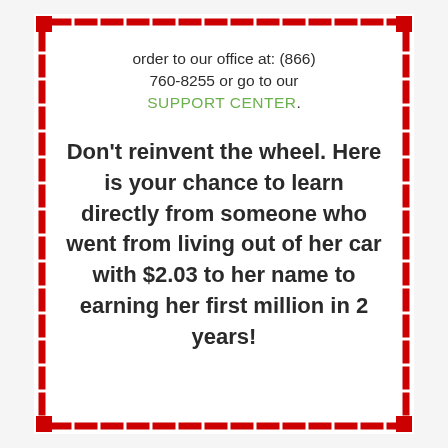order to our office at: (866) 760-8255 or go to our SUPPORT CENTER.
Don't reinvent the wheel. Here is your chance to learn directly from someone who went from living out of her car with $2.03 to her name to earning her first million in 2 years!